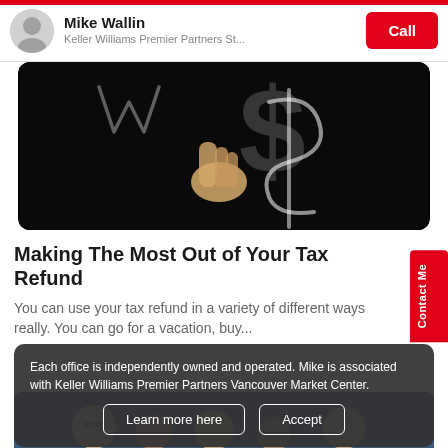Mike Wallin — Keller Williams Premier Partners St... — Call
[Figure (photo): Hand writing dollar sign on black background with chalk]
Making The Most Out of Your Tax Refund
You can use your tax refund in a variety of different ways really. You can go for a vacation, buy...
Each office is independently owned and operated. Mike is associated with Keller Williams Premier Partners Vancouver Market Center.
[Figure (photo): Group of smiling people, partially visible at bottom of page]